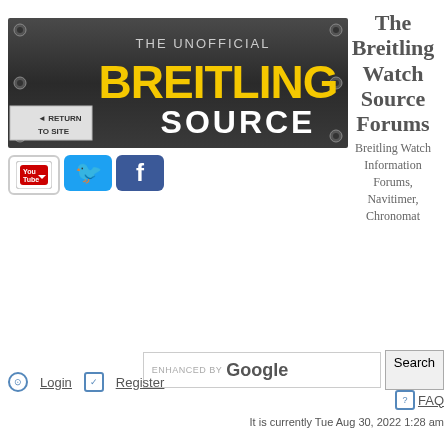[Figure (illustration): The Unofficial Breitling Source banner with metallic dark background, yellow BREITLING text, white SOURCE text, and a 'RETURN TO SITE' arrow label on left]
[Figure (illustration): YouTube logo icon (red/white), Twitter bird icon (blue), Facebook F icon (blue) — social media links]
The Breitling Watch Source Forums
Breitling Watch Information Forums, Navitimer, Chronomat
ENHANCED BY Google
Search
Login
Register
FAQ
It is currently Tue Aug 30, 2022 1:28 am